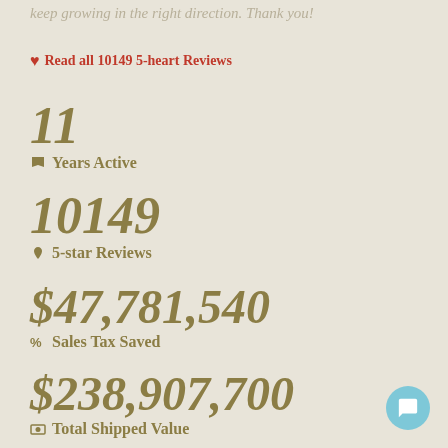keep growing in the right direction. Thank you!
♥ Read all 10149 5-heart Reviews
11
🏴 Years Active
10149
♥ 5-star Reviews
$47,781,540
% Sales Tax Saved
$238,907,700
■ Total Shipped Value